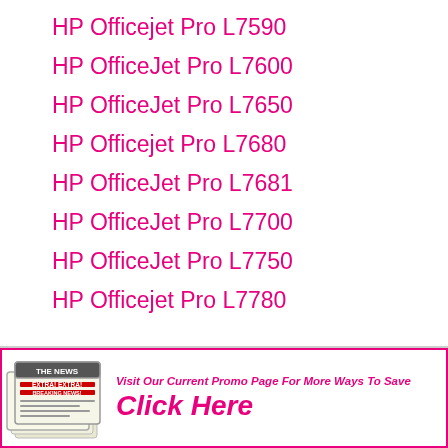HP Officejet Pro L7590
HP OfficeJet Pro L7600
HP OfficeJet Pro L7650
HP Officejet Pro L7680
HP OfficeJet Pro L7681
HP OfficeJet Pro L7700
HP OfficeJet Pro L7750
HP Officejet Pro L7780
[Figure (illustration): Newspaper with EXTRA! EXTRA! BREAKING NEWS! headline alongside promotional text: Visit Our Current Promo Page For More Ways To Save - Click Here]